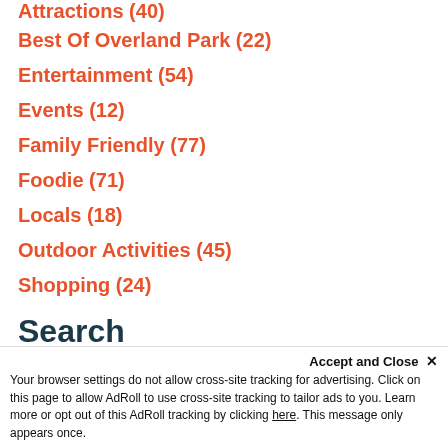Attractions (40)
Best Of Overland Park (22)
Entertainment (54)
Events (12)
Family Friendly (77)
Foodie (71)
Locals (18)
Outdoor Activities (45)
Shopping (24)
Search
From: mm/dd/yyyy
To: mm/dd/yyyy
Accept and Close ×
Your browser settings do not allow cross-site tracking for advertising. Click on this page to allow AdRoll to use cross-site tracking to tailor ads to you. Learn more or opt out of this AdRoll tracking by clicking here. This message only appears once.